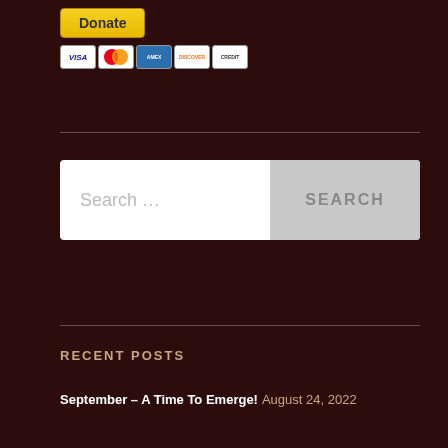[Figure (other): PayPal Donate button (yellow) with payment card icons below (Visa, Mastercard, American Express, Discover, and other cards)]
[Figure (other): Search input box with 'Search ...' placeholder text and a 'SEARCH' button on the right]
RECENT POSTS
September – A Time To Emerge! August 24, 2022
This Is What Living Is! August 3, 2022
My Heart is For You July 16, 2022
Step Into the Current of My Grace July 6, 2022